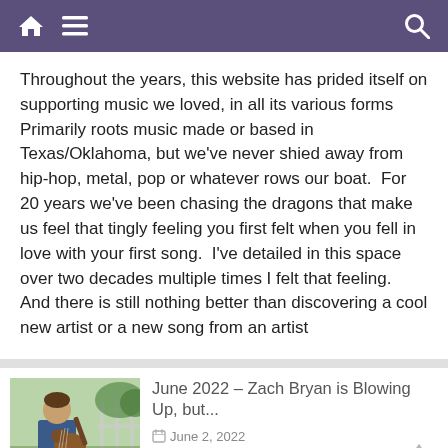Navigation bar with home, menu, and search icons
Throughout the years, this website has prided itself on supporting music we loved, in all its various forms  Primarily roots music made or based in Texas/Oklahoma, but we've never shied away from hip-hop, metal, pop or whatever rows our boat.  For 20 years we've been chasing the dragons that make us feel that tingly feeling you first felt when you fell in love with your first song.  I've detailed in this space over two decades multiple times I felt that feeling.   And there is still nothing better than discovering a cool new artist or a new song from an artist
[Figure (photo): Man sitting outdoors playing acoustic guitar, green trees and fence in background]
June 2022 – Zach Bryan is Blowing Up, but...
June 2, 2022
[Figure (photo): Older man with hat outdoors near green foliage]
Pat at 50